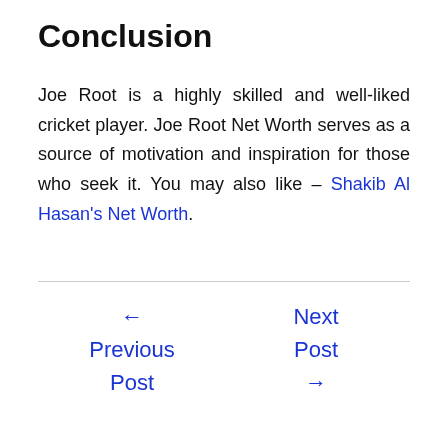Conclusion
Joe Root is a highly skilled and well-liked cricket player. Joe Root Net Worth serves as a source of motivation and inspiration for those who seek it. You may also like – Shakib Al Hasan's Net Worth.
← Previous Post
Next Post →